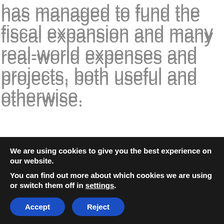has managed to fund the fiscal expansion and many real-world expenses and projects, both useful and otherwise.
And then during quantitative easing ("QE") alleviated the burden of outstanding debt in several ways:
For years, the Fed paid just 0.25% on excess reserves and was able to fund the bonds and remit the coupon proceeds to the Treasury. Such remittances added up to $80-100bln a year (see Fed Remittances below).
We are using cookies to give you the best experience on our website.
You can find out more about which cookies we are using or switch them off in settings.